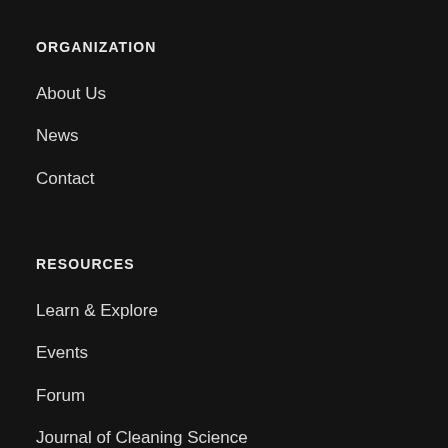ORGANIZATION
About Us
News
Contact
RESOURCES
Learn & Explore
Events
Forum
Journal of Cleaning Science
Shop